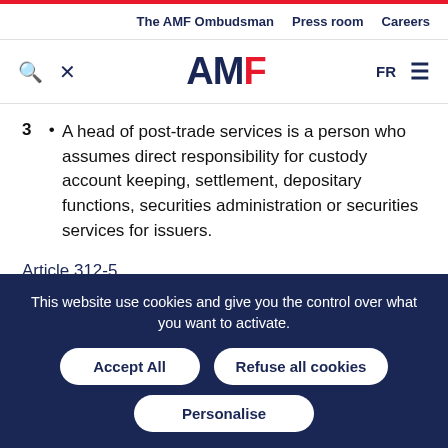The AMF Ombudsman | Press room | Careers
[Figure (logo): AMF logo with search and tools icons and FR language selector and hamburger menu]
3 • A head of post-trade services is a person who assumes direct responsibility for custody account keeping, settlement, depositary functions, securities administration or securities services for issuers.
Article 312-5
I. - The AMF has formed a Financial Skills Certification Board.
This website use cookies and give you the control over what you want to activate.
Accept All | Refuse all cookies | Personalise